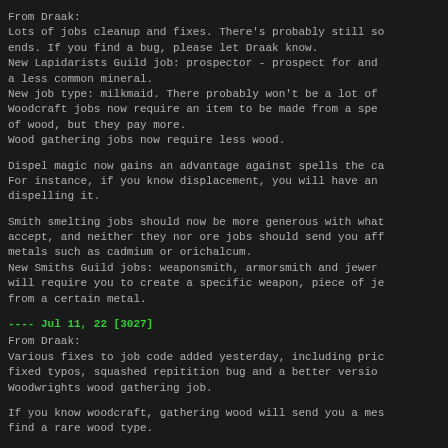From Draak:
Lots of jobs cleanup and fixes. There's probably still some loose ends. If you find a bug, please let Draak know.
New Lapidarists Guild job: prospector - prospect for and find a less common mineral.
New job type: milkmaid. There probably won't be a lot of these.
Woodcraft jobs now require an item to be made from a specific kind of wood, but they pay more.
Wood gathering jobs now require less wood.
Dispel magic now gains an advantage against spells the caster knows. For instance, if you know displacement, you will have an advantage dispelling it.
Smith smelting jobs should now be more generous with what they accept, and neither they nor ore jobs should send you after rare metals such as cadmium or orichalcum.
New Smiths Guild jobs: weaponsmith, armorsmith and jewerlsmith will require you to create a specific weapon, piece of jewelry from a certain metal.
---- Jul 11, 22 [3027]
From Draak:
Various fixes to job code added yesterday, including pricing, fixed typos, squashed repitition bug and a better version of Woodwrights wood gathering job.
If you know woodcraft, gathering wood will send you a message to find a rare wood type.